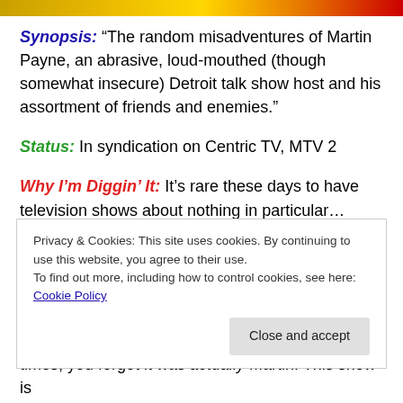[Figure (photo): Cropped top image strip with orange/yellow/red gradient colors]
Synopsis: “The random misadventures of Martin Payne, an abrasive, loud-mouthed (though somewhat insecure) Detroit talk show host and his assortment of friends and enemies.”
Status: In syndication on Centric TV, MTV 2
Why I’m Diggin’ It: It’s rare these days to have television shows about nothing in particular… while still being entertaining. Martin was a product of the era in TV where we followed peoples lives set in motion by creative writing
Privacy & Cookies: This site uses cookies. By continuing to use this website, you agree to their use.
To find out more, including how to control cookies, see here: Cookie Policy
times, you forgot it was actually Martin! This show is